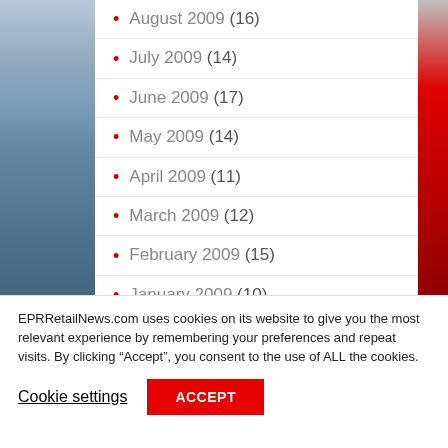August 2009 (16)
July 2009 (14)
June 2009 (17)
May 2009 (14)
April 2009 (11)
March 2009 (12)
February 2009 (15)
January 2009 (10)
EPRRetailNews.com uses cookies on its website to give you the most relevant experience by remembering your preferences and repeat visits. By clicking “Accept”, you consent to the use of ALL the cookies.
Cookie settings
ACCEPT